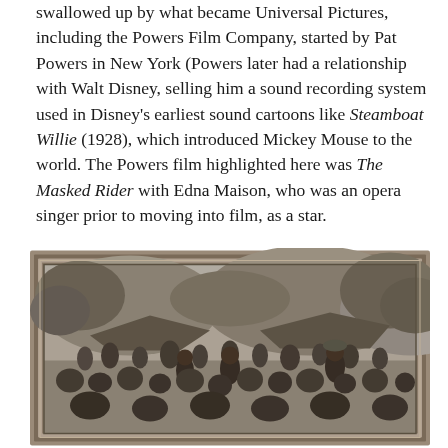swallowed up by what became Universal Pictures, including the Powers Film Company, started by Pat Powers in New York (Powers later had a relationship with Walt Disney, selling him a sound recording system used in Disney's earliest sound cartoons like Steamboat Willie (1928), which introduced Mickey Mouse to the world. The Powers film highlighted here was The Masked Rider with Edna Maison, who was an opera singer prior to moving into film, as a star.
[Figure (photo): Black and white photograph framed with a decorative border, showing a large group of people outdoors in what appears to be a tropical or jungle setting with thatched structures in the background. Several figures are dancing or performing.]